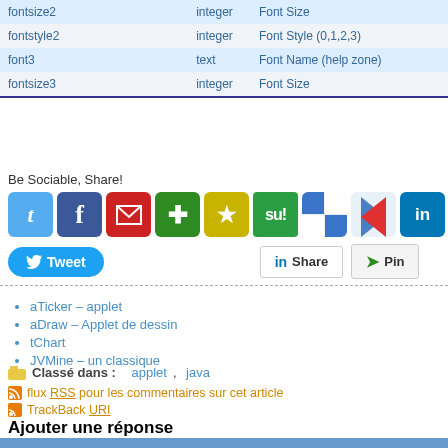|  |  |  |
| --- | --- | --- |
| fontsize2 | integer | Font Size |
| fontstyle2 | integer | Font Style (0,1,2,3) |
| font3 | text | Font Name (help zone) |
| fontsize3 | integer | Font Size |
Be Sociable, Share!
[Figure (screenshot): Social sharing icon buttons: Twitter, Facebook, Mail, Pin, Star, StumbleUpon, Delicious, Digg, LinkedIn, More]
[Figure (screenshot): Social action buttons: Tweet, LinkedIn Share, Pin]
aTicker – applet
aDraw – Applet de dessin
tChart
JVMine – un classique
Classé dans : applet, java
flux RSS pour les commentaires sur cet article
TrackBack URI
Ajouter une réponse